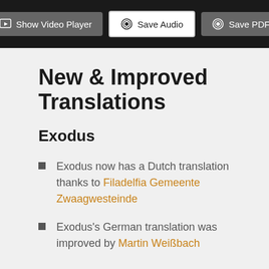[Figure (screenshot): Toolbar with three buttons: Show Video Player, Save Audio, Save PDF on dark background]
New & Improved Translations
Exodus
Exodus now has a Dutch translation thanks to Filadelfia Gemeente Zwaagwesteinde
Exodus's German translation was improved by Martin Weißbach